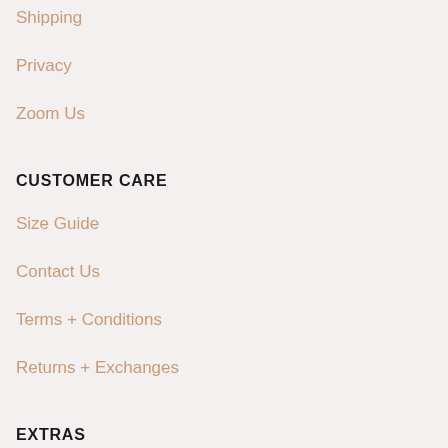Shipping
Privacy
Zoom Us
CUSTOMER CARE
Size Guide
Contact Us
Terms + Conditions
Returns + Exchanges
EXTRAS